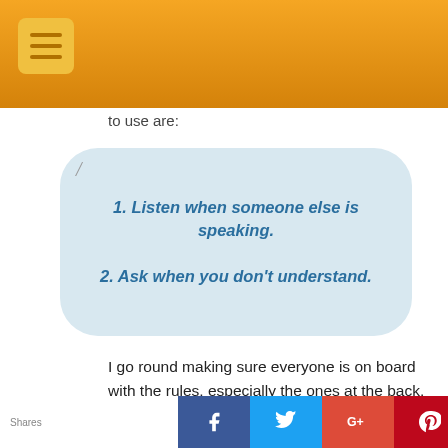[Orange navigation header with menu icon]
to use are:
1. Listen when someone else is speaking.
2. Ask when you don't understand.
I go round making sure everyone is on board with the rules, especially the ones at the back.
If they do speak up and disagree with some of the rules, as often happens with cheeky teenagers, just ask them what they want the rules to be.  They  usually
Shares [social share buttons: Facebook, Twitter, Google+, Pinterest, Email]